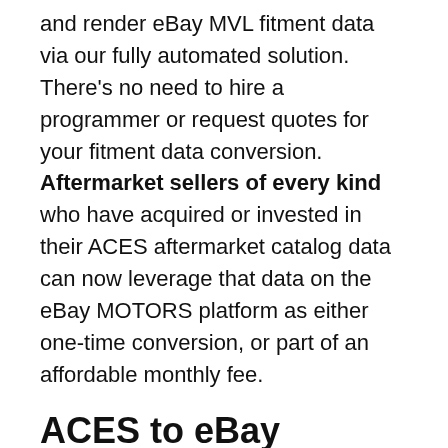and render eBay MVL fitment data via our fully automated solution. There's no need to hire a programmer or request quotes for your fitment data conversion. Aftermarket sellers of every kind who have acquired or invested in their ACES aftermarket catalog data can now leverage that data on the eBay MOTORS platform as either one-time conversion, or part of an affordable monthly fee.
ACES to eBay
For large sellers, our Enterprise subscription allows you to convert your